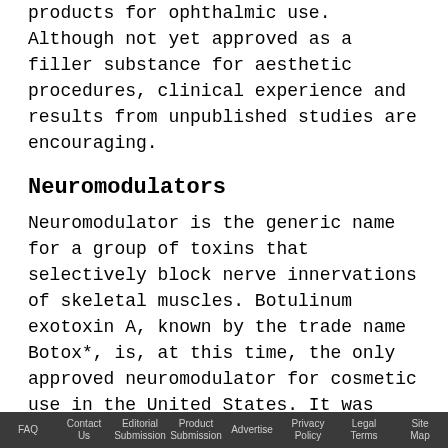products for ophthalmic use. Although not yet approved as a filler substance for aesthetic procedures, clinical experience and results from unpublished studies are encouraging.
Neuromodulators
Neuromodulator is the generic name for a group of toxins that selectively block nerve innervations of skeletal muscles. Botulinum exotoxin A, known by the trade name Botox*, is, at this time, the only approved neuromodulator for cosmetic use in the United States. It was accepted by the FDA for cosmetic use in 2002. The year it was introduced, it became the No. 1 injected cosmetic material in use.
FAQ  Contact Us  Editorial Submission  Product Submission  Advertise  Privacy Policy  Legal Terms  Site Map